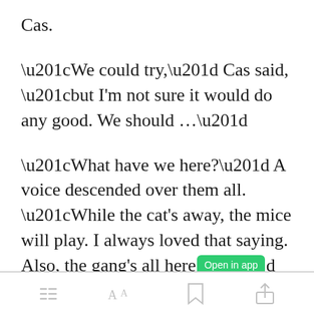Cas.
“We could try,” Cas said, “but I’m not sure it would do any good. We should …”
“What have we here?” A voice descended over them all. “While the cat’s away, the mice will play. I always loved that saying. Also, the gang’s all here [Open in app] d descended,